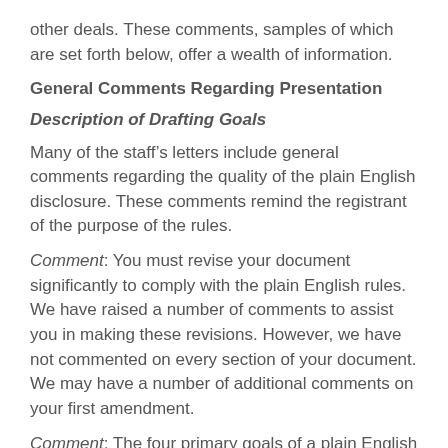other deals. These comments, samples of which are set forth below, offer a wealth of information.
General Comments Regarding Presentation
Description of Drafting Goals
Many of the staff’s letters include general comments regarding the quality of the plain English disclosure. These comments remind the registrant of the purpose of the rules.
Comment: You must revise your document significantly to comply with the plain English rules. We have raised a number of comments to assist you in making these revisions. However, we have not commented on every section of your document. We may have a number of additional comments on your first amendment.
Comment: The four primary goals of a plain English